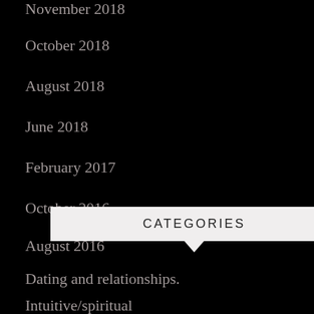November 2018
October 2018
August 2018
June 2018
February 2017
October 2016
August 2016
CATEGORIES
Dating and relationships.
Intuitive/spiritual